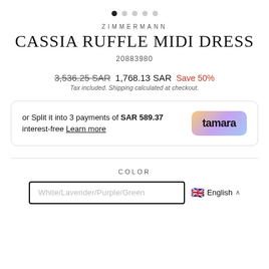[Figure (other): Carousel navigation dots, first filled, four grey]
ZIMMERMANN
CASSIA RUFFLE MIDI DRESS
20883980
3,536.25 SAR  1,768.13 SAR  Save 50%
Tax included. Shipping calculated at checkout.
or Split it into 3 payments of SAR 589.37 interest-free Learn more
COLOR
White/Lavender/Purple/Green
English